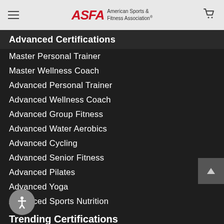ASFA American Sports & Fitness Association®
Advanced Certifications
Master Personal Trainer
Master Wellness Coach
Advanced Personal Trainer
Advanced Wellness Coach
Advanced Group Fitness
Advanced Water Aerobics
Advanced Cycling
Advanced Senior Fitness
Advanced Pilates
Advanced Yoga
Advanced Sports Nutrition
Trending Certifications
Master Personal Trainer
Personal Trainer
Health & Wellness Coach
Group Fitness & Bootcamp